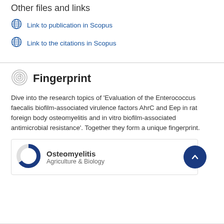Other files and links
Link to publication in Scopus
Link to the citations in Scopus
Fingerprint
Dive into the research topics of 'Evaluation of the Enterococcus faecalis biofilm-associated virulence factors AhrC and Eep in rat foreign body osteomyelitis and in vitro biofilm-associated antimicrobial resistance'. Together they form a unique fingerprint.
Osteomyelitis
Agriculture & Biology